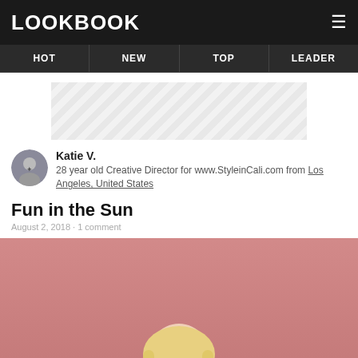LOOKBOOK
HOT  NEW  TOP  LEADER
[Figure (other): Ad banner placeholder with diagonal stripe pattern]
Katie V.
28 year old Creative Director for www.StyleinCali.com from Los Angeles, United States
Fun in the Sun
August 2, 2018 · 1 comment
[Figure (photo): Woman with blonde hair and black glasses against pink background]